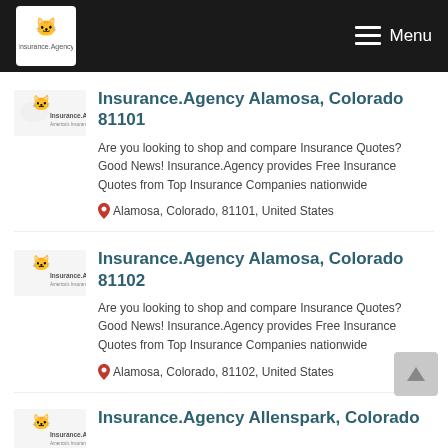Insurance.Agency — Menu
Insurance.Agency Alamosa, Colorado 81101
Are you looking to shop and compare Insurance Quotes? Good News! Insurance.Agency provides Free Insurance Quotes from Top Insurance Companies nationwide
Alamosa, Colorado, 81101, United States
Insurance.Agency Alamosa, Colorado 81102
Are you looking to shop and compare Insurance Quotes? Good News! Insurance.Agency provides Free Insurance Quotes from Top Insurance Companies nationwide
Alamosa, Colorado, 81102, United States
Insurance.Agency Allenspark, Colorado